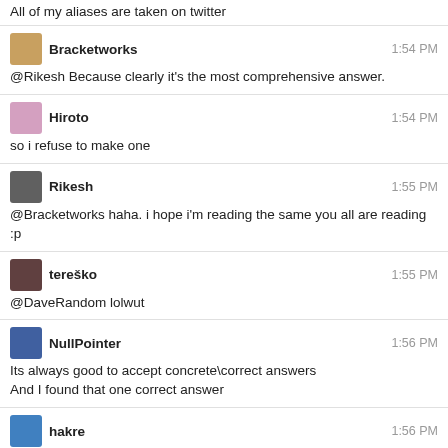All of my aliases are taken on twitter
Bracketworks 1:54 PM
@Rikesh Because clearly it's the most comprehensive answer.
Hiroto 1:54 PM
so i refuse to make one
Rikesh 1:55 PM
@Bracketworks haha. i hope i'm reading the same you all are reading :p
tereško 1:55 PM
@DaveRandom lolwut
NullPointer 1:56 PM
Its always good to accept concrete\correct answers
And I found that one correct answer
hakre 1:56 PM
@DaveRandom lol, is the eval even necessary?
NullPointer 1:57 PM
Or truth I want to troll him back
Rikesh 1:58 PM
@NullPointer That's cool..I was just worrying for the user who answered it correctly ;)
webarto 1:58 PM